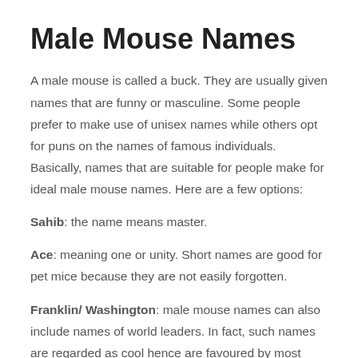Male Mouse Names
A male mouse is called a buck. They are usually given names that are funny or masculine. Some people prefer to make use of unisex names while others opt for puns on the names of famous individuals. Basically, names that are suitable for people make for ideal male mouse names. Here are a few options:
Sahib: the name means master.
Ace: meaning one or unity. Short names are good for pet mice because they are not easily forgotten.
Franklin/ Washington: male mouse names can also include names of world leaders. In fact, such names are regarded as cool hence are favoured by most people.
Daniel: from the television show titled, The Devil and Daniel